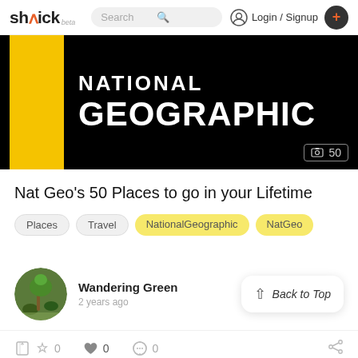shtick beta | Search | Login / Signup | +
[Figure (logo): National Geographic logo: yellow rectangle on black background with NATIONAL GEOGRAPHIC text in white. Shows image count badge '50' in bottom right.]
Nat Geo's 50 Places to go in your Lifetime
Places
Travel
NationalGeographic
NatGeo
Wandering Green
2 years ago
Back to Top
0 0 0